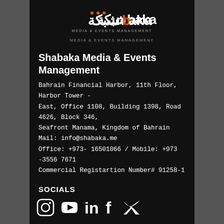[Figure (logo): Shabaka Media & Events Management logo — Arabic text combined with 'baka' in white and orange, subtitle 'MEDIA & EVENTS MANAGEMENT']
Shabaka Media & Events Management
Bahrain Financial Harbor, 11th Floor, Harbor Tower - East, Office 1108, Building 1398, Road 4626, Block 346, Seafront Manama, Kingdom of Bahrain
Mail: info@shabaka.me
Office: +973- 16501066 / Mobile: +973 -3556 7671
Commercial Registartion Number# 91258-1
SOCIALS
[Figure (illustration): Social media icons: Instagram, YouTube, LinkedIn, Facebook, Twitter]
Privacy Policy
All Rights Reserved | Shabaka Media & Events Management © 2014-2022
Website Developer: Shabaka Media & Events Management